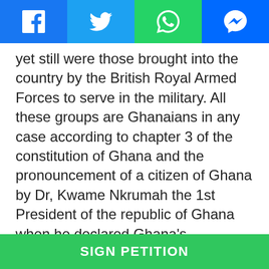[Figure (other): Social media share bar with Facebook, Twitter, WhatsApp, and Messenger icons]
yet still were those brought into the country by the British Royal Armed Forces to serve in the military. All these groups are Ghanaians in any case according to chapter 3 of the constitution of Ghana and the pronouncement of a citizen of Ghana by Dr, Kwame Nkrumah the 1st President of the republic of Ghana when he declared Ghana's independence on the 6th March 1957 at independence square ground. The Hausas of Ghana who are mostly founders and custodians of most Zongos in the regional and district capitals with the Hausa language as the lingua franca of all these settlements are indeed an integral part of the Ghanaian societies. It is high time to be given the necessary recognition official
SIGN PETITION